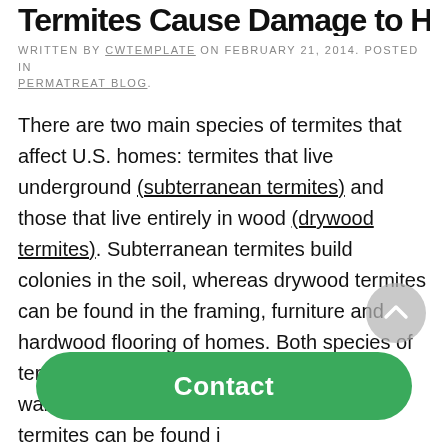Termites Cause Damage to Homes
WRITTEN BY CWTEMPLATE ON FEBRUARY 21, 2014. POSTED IN PERMATREAT BLOG.
There are two main species of termites that affect U.S. homes: termites that live underground (subterranean termites) and those that live entirely in wood (drywood termites). Subterranean termites build colonies in the soil, whereas drywood termites can be found in the framing, furniture and hardwood flooring of homes. Both species of termites tend to be most active in areas with warmer climates, although subterranean termites can be found i... every... li... the two species of termites — as termite damage of